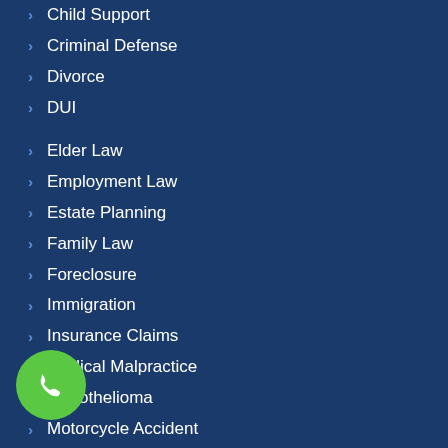Child Support
Criminal Defense
Divorce
DUI
Elder Law
Employment Law
Estate Planning
Family Law
Foreclosure
Immigration
Insurance Claims
Medical Malpractice
Mesothelioma
Motorcycle Accident
Nursing Abuse
Patents Trademarks
Personal Injury
Police Brutality
Probate Lawyers
[Figure (illustration): Green circular phone call button with a white phone handset icon, positioned at lower left]